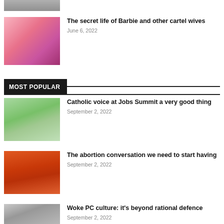[Figure (photo): Partial thumbnail of an article image at the top of the page (cropped)]
[Figure (photo): Colorful photo of people dressed as Barbie dolls with flowers]
The secret life of Barbie and other cartel wives
June 6, 2022
MOST POPULAR
[Figure (photo): Photo of a nurse or caregiver with an elderly person outdoors]
Catholic voice at Jobs Summit a very good thing
September 2, 2022
[Figure (photo): Photo of a woman in red top against orange background]
The abortion conversation we need to start having
September 2, 2022
[Figure (photo): Photo of a young man holding a camera or phone, partially visible]
Woke PC culture: it's beyond rational defence
September 2, 2022